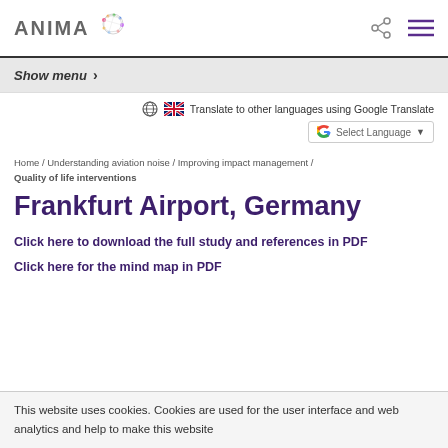ANIMA [logo]
Show menu >
Translate to other languages using Google Translate  Select Language
Home / Understanding aviation noise / Improving impact management / Quality of life interventions
Frankfurt Airport, Germany
Click here to download the full study and references in PDF
Click here for the mind map in PDF
This website uses cookies. Cookies are used for the user interface and web analytics and help to make this website